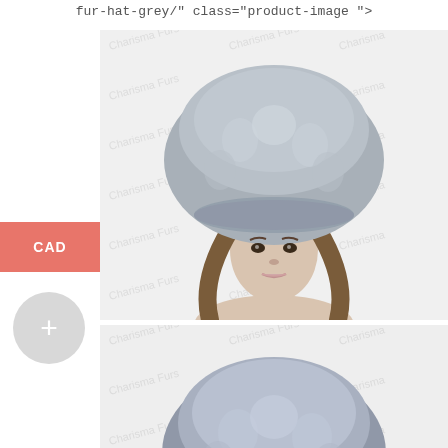fur-hat-grey/" class="product-image ">
[Figure (photo): Woman wearing a large fluffy grey fox fur hat, watermarked product image, top view showing face and hat]
[Figure (photo): Same woman wearing the same grey fur hat, second product image at a slightly closer crop]
CAD
+